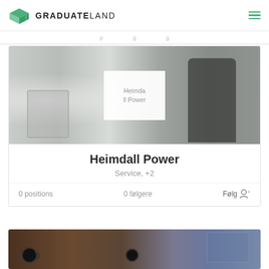GRADUATELAND
[Figure (screenshot): Graduateland company profile page for Heimdall Power showing office photo background with logo placeholder, company name, category 'Service, +2', 0 positions, 0 følgere, and Følg button]
Heimdall Power
Service, +2
0 positions
0 følgere
Følg
[Figure (photo): Partial view of another company card showing coffee cups on wooden table and laptop]